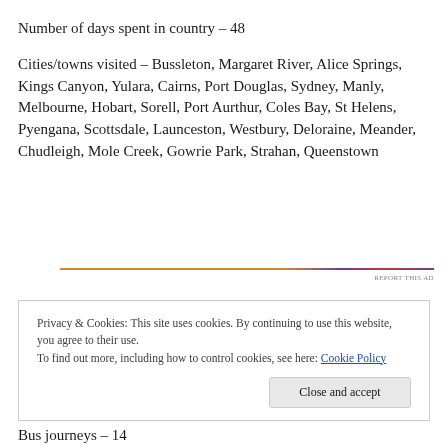Number of days spent in country – 48
Cities/towns visited – Bussleton, Margaret River, Alice Springs, Kings Canyon, Yulara, Cairns, Port Douglas, Sydney, Manly, Melbourne, Hobart, Sorell, Port Aurthur, Coles Bay, St Helens, Pyengana, Scottsdale, Launceston, Westbury, Deloraine, Meander, Chudleigh, Mole Creek, Gowrie Park, Strahan, Queenstown
Privacy & Cookies: This site uses cookies. By continuing to use this website, you agree to their use. To find out more, including how to control cookies, see here: Cookie Policy
Bus journeys – 14